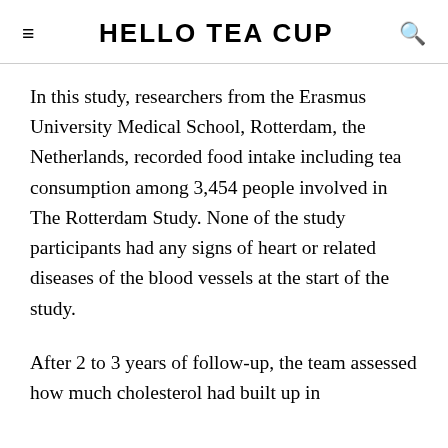HELLO TEA CUP
In this study, researchers from the Erasmus University Medical School, Rotterdam, the Netherlands, recorded food intake including tea consumption among 3,454 people involved in The Rotterdam Study. None of the study participants had any signs of heart or related diseases of the blood vessels at the start of the study.
After 2 to 3 years of follow-up, the team assessed how much cholesterol had built up in arteries of the study participants. Based...